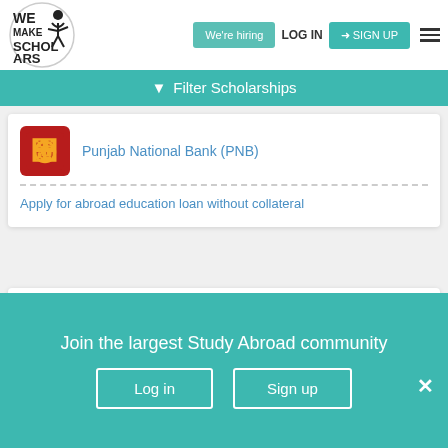We Make Scholars | We're hiring | LOG IN | SIGN UP
Filter Scholarships
Punjab National Bank (PNB)
Apply for abroad education loan without collateral
Degree Based Scholarships
High/Secondary School Scholarships in Malta
Join the largest Study Abroad community
Log in
Sign up